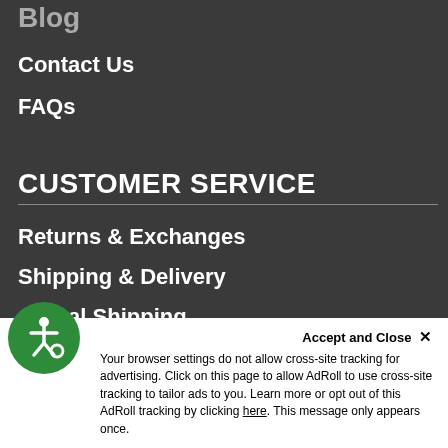Blog
Contact Us
FAQs
CUSTOMER SERVICE
Returns & Exchanges
Shipping & Delivery
Global Shipping
Accessibility
Privacy Policy
[Figure (logo): Green circular accessibility wheelchair icon badge]
Accept and Close ✕
Your browser settings do not allow cross-site tracking for advertising. Click on this page to allow AdRoll to use cross-site tracking to tailor ads to you. Learn more or opt out of this AdRoll tracking by clicking here. This message only appears once.